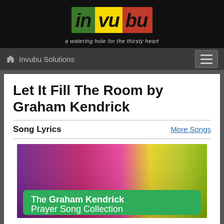invubu — a watering hole for the thirsty heart
Invubu Solutions
Let It Fill The Room by Graham Kendrick
Song Lyrics
More Songs
[Figure (photo): Album cover for The Graham Kendrick Prayer Song Collection, showing a colorful purple/yellow/green gradient background with a green banner displaying the text 'The Graham Kendrick Prayer Song Collection']